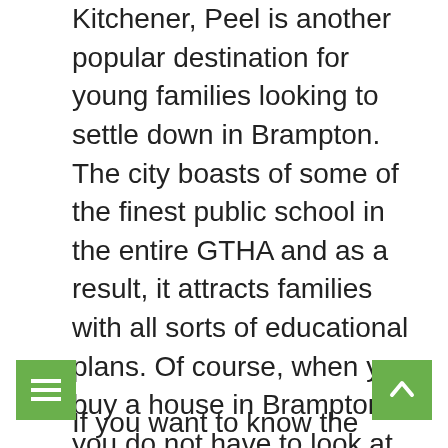Kitchener, Peel is another popular destination for young families looking to settle down in Brampton. The city boasts of some of the finest public school in the entire GTHA and as a result, it attracts families with all sorts of educational plans. Of course, when you buy a house in Brampton, you do not have to look at the educational offerings of the school just to decide on a house for sale in Brampton. It is important to remember though that you will get more houses for sale in Brampton if you invest in the best gated communities in the city like Woodbridge, St Clair and of course Bramalea. These gated communities are just some of the best in the city and they have all the amenities you could ever need including fully furnished homes and swimming pools.
If you want to know the exact city where to find...